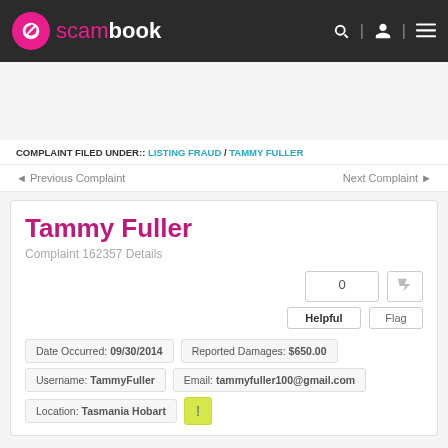scambook
COMPLAINT FILED UNDER:: LISTING FRAUD / TAMMY FULLER
◄ Previous Complaint   Next Complaint ►
Tammy Fuller
Complaint 162357 Details
0   Helpful   Flag
| Field | Value |
| --- | --- |
| Date Occurred: | 09/30/2014 | Reported Damages: | $650.00 |
| Username: | TammyFuller | Email: | tammyfuller100@gmail.com |
| Location: | Tasmania Hobart |  | ! |